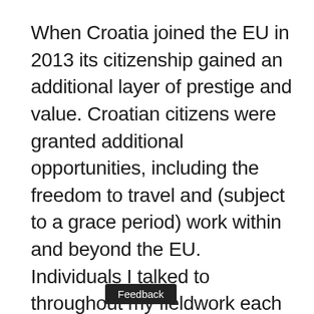When Croatia joined the EU in 2013 its citizenship gained an additional layer of prestige and value. Croatian citizens were granted additional opportunities, including the freedom to travel and (subject to a grace period) work within and beyond the EU. Individuals I talked to throughout my fieldwork each highlighted the impact EU citizenship has on their life prospects. They framed it as an insurance policy, as an opportunity should the situation in BiH, already one of the least developed countries in Europe, further deteriorate. Most individuals also emphasised the sense of advantage their citizenship status grants them in comparison to other citizens of BiH, particularly concerning employment